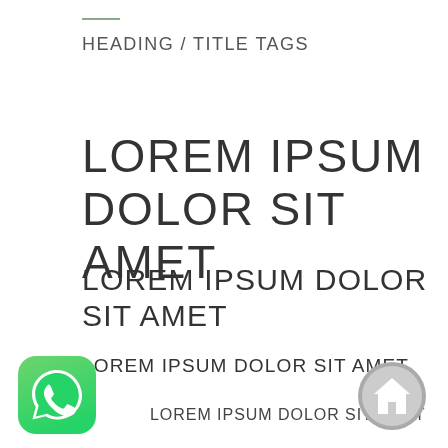HEADING / TITLE TAGS
LOREM IPSUM DOLOR SIT AMET
LOREM IPSUM DOLOR SIT AMET
LOREM IPSUM DOLOR SIT AMET
LOREM IPSUM DOLOR SIT AMET
[Figure (logo): WhatsApp logo icon — green rounded square with white speech bubble and phone]
[Figure (illustration): Gray circular home/house icon button]